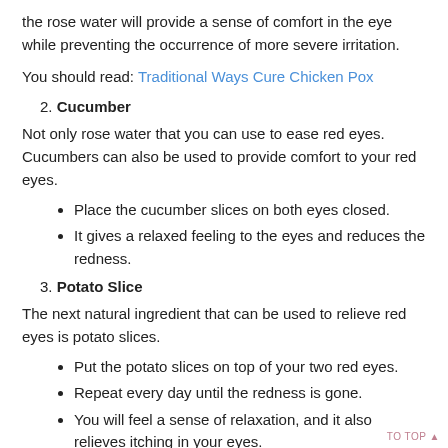the rose water will provide a sense of comfort in the eye while preventing the occurrence of more severe irritation.
You should read: Traditional Ways Cure Chicken Pox
2. Cucumber
Not only rose water that you can use to ease red eyes. Cucumbers can also be used to provide comfort to your red eyes.
Place the cucumber slices on both eyes closed.
It gives a relaxed feeling to the eyes and reduces the redness.
3. Potato Slice
The next natural ingredient that can be used to relieve red eyes is potato slices.
Put the potato slices on top of your two red eyes.
Repeat every day until the redness is gone.
You will feel a sense of relaxation, and it also relieves itching in your eyes.
Find out more helpful tips on How to Relieve Soreness in your Body